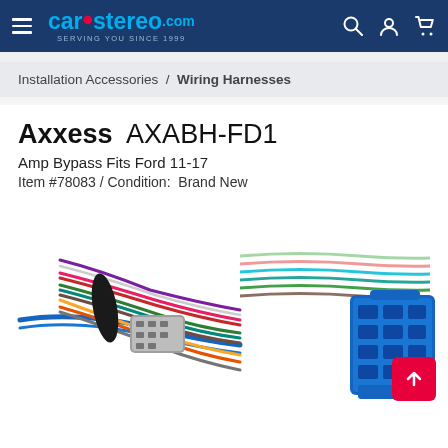CarStereo.com — SERVING YOU SINCE 1999
Installation Accessories / Wiring Harnesses
Axxess AXABH-FD1
Amp Bypass Fits Ford 11-17
Item #78083 / Condition: Brand New
[Figure (photo): Product photo of Axxess AXABH-FD1 wiring harness showing multi-colored wires with gray connectors on the left side and a blue rectangular connector block on the right side]